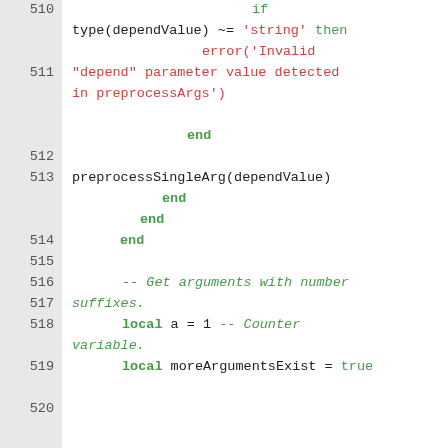[Figure (screenshot): Source code listing in Lua with line numbers 510-520, showing conditional error handling and argument preprocessing logic. Green keywords and red string literals on white background with gray line number gutter.]